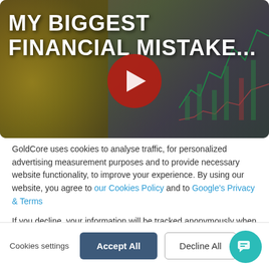[Figure (screenshot): YouTube-style video thumbnail showing two men in suits against a financial chart/coins background. Bold white text reads 'MY BIGGEST FINANCIAL MISTAKE...' with a red play button in the center.]
GoldCore uses cookies to analyse traffic, for personalized advertising measurement purposes and to provide necessary website functionality, to improve your experience. By using our website, you agree to our Cookies Policy and to Google's Privacy & Terms
If you decline, your information will be tracked anonymously when you visit our website. In addition to necessary cookies, a single cookie will be used in your browser to remember your preference not to be tracked.
Cookies settings
Accept All
Decline All